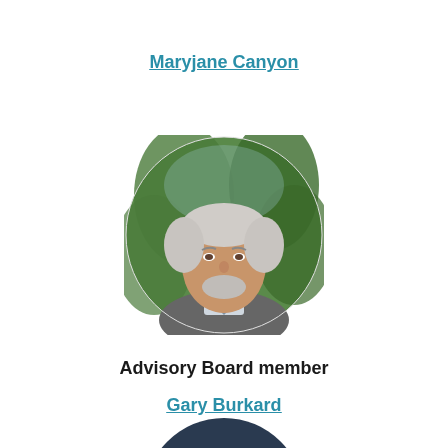Maryjane Canyon
[Figure (photo): Circular headshot photo of an older man with white/grey hair and a short grey beard, wearing a grey suit and tie, smiling, with green foliage in background.]
Advisory Board member
Gary Burkard
[Figure (photo): Circular headshot photo of a person wearing a dark hat, partially visible at bottom of page.]